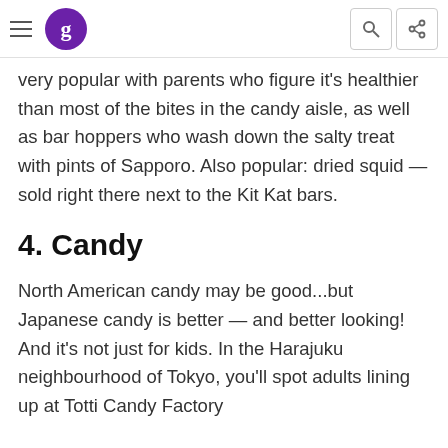[Navigation bar with hamburger menu, G logo, search icon, share icon]
very popular with parents who figure it's healthier than most of the bites in the candy aisle, as well as bar hoppers who wash down the salty treat with pints of Sapporo. Also popular: dried squid — sold right there next to the Kit Kat bars.
4. Candy
North American candy may be good...but Japanese candy is better — and better looking! And it's not just for kids. In the Harajuku neighbourhood of Tokyo, you'll spot adults lining up at Totti Candy Factory